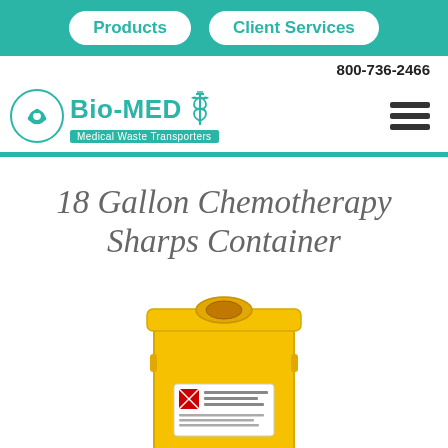Products | Client Services
800-736-2466
[Figure (logo): Bio-MED Medical Waste Transporters logo with biohazard circle symbol and caduceus icon, teal color, plus hamburger menu icon]
18 Gallon Chemotherapy Sharps Container
[Figure (photo): Yellow 18-gallon chemotherapy sharps container with circular opening on top and label with biohazard markings on the front, shown on white background]